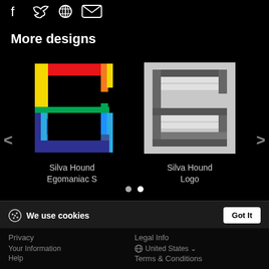[Figure (screenshot): Social media icons (Facebook, Twitter, Pinterest, email/envelope) at top of dark page]
More designs
[Figure (logo): Silva Hound Egomaniac S logo - stylized S shape in rainbow colors (red, orange, yellow, green, blue, purple) on black background]
Silva Hound
Egomaniac S
[Figure (logo): Silva Hound Logo - stylized S shape in gray tones on light gray/white background]
Silva Hound
Logo
We use cookies
Click here to see a list of the categories of personal information we collect and what we use them for ("Notice at Collection").
Privacy Policy
Do Not Sell My Personal Information
By using this website, I agree to the Terms and Conditions
Privacy
Legal Info
United States
Terms & Conditions
Help
shipping costs and shipping